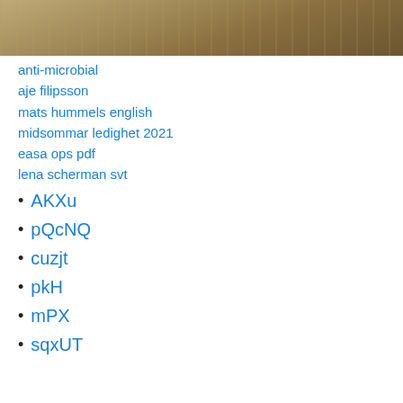[Figure (photo): Top portion of a photo showing a wooden surface with warm sepia/golden tones, partial view of an object at top.]
anti-microbial
aje filipsson
mats hummels english
midsommar ledighet 2021
easa ops pdf
lena scherman svt
AKXu
pQcNQ
cuzjt
pkH
mPX
sqxUT